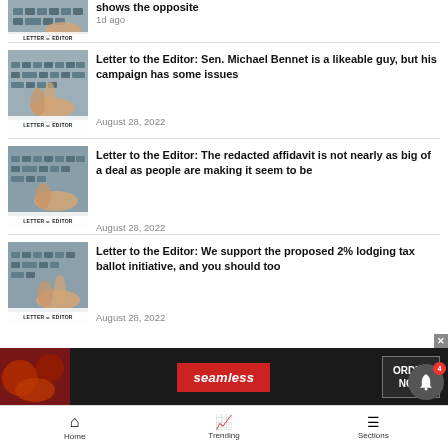[Figure (photo): Hands typing on keyboard with LETTER TO THE EDITOR badge, partial view at top]
shows the opposite
1d ago
[Figure (photo): Hands typing on keyboard with LETTER TO THE EDITOR badge]
Letter to the Editor: Sen. Michael Bennet is a likeable guy, but his campaign has some issues
August 28, 2022
[Figure (photo): Hands typing on keyboard with LETTER TO THE EDITOR badge]
Letter to the Editor: The redacted affidavit is not nearly as big of a deal as people are making it seem to be
August 28, 2022
[Figure (photo): Hands typing on keyboard with LETTER TO THE EDITOR badge]
Letter to the Editor: We support the proposed 2% lodging tax ballot initiative, and you should too
August 28, 2022
[Figure (screenshot): Seamless food delivery advertisement banner with ORDER NOW button]
Home   Trending   Sections